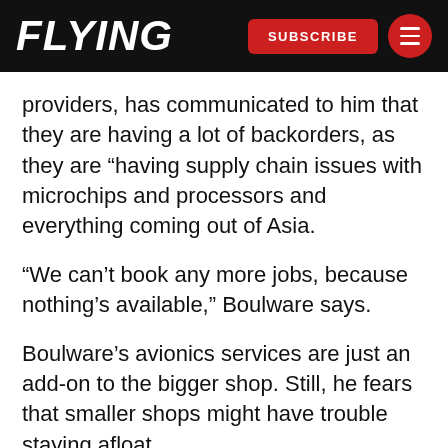FLYING | SUBSCRIBE
providers, has communicated to him that they are having a lot of backorders, as they are “having supply chain issues with microchips and processors and everything coming out of Asia.
“We can’t book any more jobs, because nothing’s available,” Boulware says.
Boulware’s avionics services are just an add-on to the bigger shop. Still, he fears that smaller shops might have trouble staying afloat.